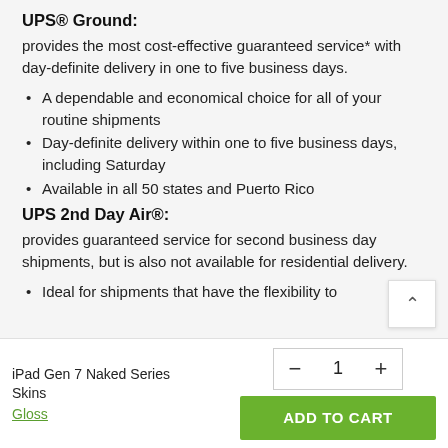UPS® Ground:
provides the most cost-effective guaranteed service* with day-definite delivery in one to five business days.
A dependable and economical choice for all of your routine shipments
Day-definite delivery within one to five business days, including Saturday
Available in all 50 states and Puerto Rico
UPS 2nd Day Air®:
provides guaranteed service for second business day shipments, but is also not available for residential delivery.
Ideal for shipments that have the flexibility to
iPad Gen 7 Naked Series Skins
Gloss